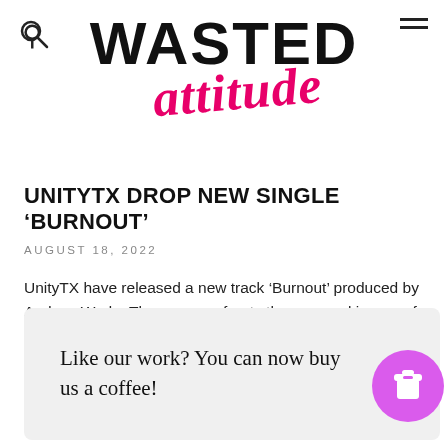WASTED ATTITUDE
UNITYTX DROP NEW SINGLE ‘BURNOUT’
AUGUST 18, 2022
UnityTX have released a new track 'Burnout' produced by Andrew Wade. The song confronts the very real issues of dissatisfaction with the state of...
Like our work? You can now buy us a coffee!